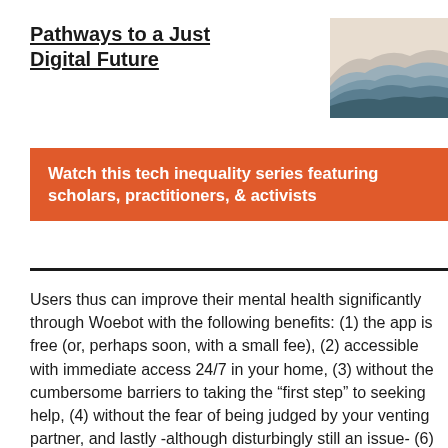Pathways to a Just Digital Future
[Figure (illustration): Layered mountain silhouette illustration with muted blue, grey, and peach tones]
Watch this tech inequality series featuring scholars, practitioners, & activists
Users thus can improve their mental health significantly through Woebot with the following benefits: (1) the app is free (or, perhaps soon, with a small fee), (2) accessible with immediate access 24/7 in your home, (3) without the cumbersome barriers to taking the “first step” to seeking help, (4) without the fear of being judged by your venting partner, and lastly -although disturbingly still an issue- (6) without the potential stigma and